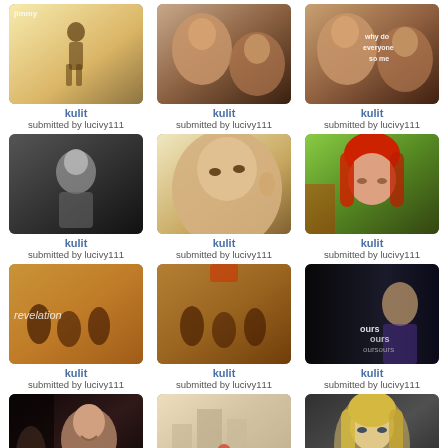[Figure (photo): Thumbnail photo 1 - person running in bright light]
kulit
submitted by lucivy111
[Figure (photo): Thumbnail photo 2 - two faces close up]
kulit
submitted by lucivy111
[Figure (photo): Thumbnail photo 3 - two faces with text overlay 'why do everyone so me']
kulit
submitted by lucivy111
[Figure (photo): Thumbnail photo 4 - person in black and white]
kulit
submitted by lucivy111
[Figure (photo): Thumbnail photo 5 - young male face close up]
kulit
submitted by lucivy111
[Figure (photo): Thumbnail photo 6 - red haired woman]
kulit
submitted by lucivy111
[Figure (photo): Thumbnail photo 7 - group scene with text 'revelation']
kulit
submitted by lucivy111
[Figure (photo): Thumbnail photo 8 - group scene similar warm tones]
kulit
submitted by lucivy111
[Figure (photo): Thumbnail photo 9 - dark scene with text 'ours']
kulit
submitted by lucivy111
[Figure (photo): Thumbnail photo 10 - woman smiling dark background]
kulit
submitted by lucivy111
[Figure (photo): Thumbnail photo 11 - city scene with red elements]
kulit
submitted by lucivy111
[Figure (photo): Thumbnail photo 12 - blonde woman looking serious]
kulit
submitted by lucivy111